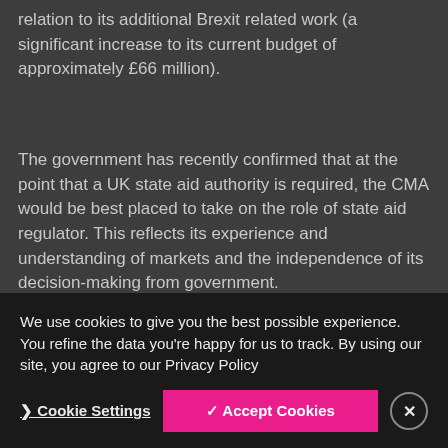relation to its additional Brexit related work (a significant increase to its current budget of approximately £66 million).
The government has recently confirmed that at the point that a UK state aid authority is required, the CMA would be best placed to take on the role of state aid regulator. This reflects its experience and understanding of markets and the independence of its decision-making from government.
Future co-operation
We use cookies to give you the best possible experience. You refine the data you're happy for us to track. By using our site, you agree to our Privacy Policy